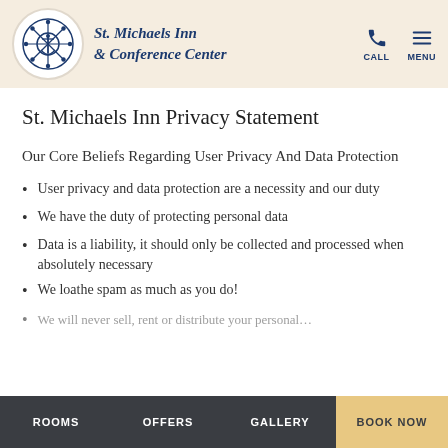St. Michaels Inn & Conference Center — CALL  MENU
St. Michaels Inn Privacy Statement
Our Core Beliefs Regarding User Privacy And Data Protection
User privacy and data protection are a necessity and our duty
We have the duty of protecting personal data
Data is a liability, it should only be collected and processed when absolutely necessary
We loathe spam as much as you do!
We will never sell, rent or distribute your personal…
ROOMS  OFFERS  GALLERY  BOOK NOW